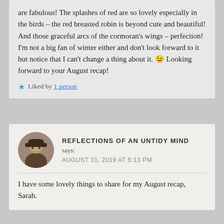are fabulous! The splashes of red are so lovely especially in the birds – the red breasted robin is beyond cute and beautiful! And those graceful arcs of the cormoran's wings – perfection!
I'm not a big fan of winter either and don't look forward to it but notice that I can't change a thing about it. 😉 Looking forward to your August recap!
Liked by 1 person
REFLECTIONS OF AN UNTIDY MIND says:
AUGUST 31, 2019 AT 6:13 PM
I have some lovely things to share for my August recap, Sarah.